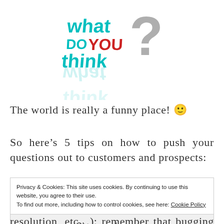[Figure (illustration): 3D text illustration showing the words 'what?', 'DO YOU', 'think' in teal/cyan and red letters with a grey question mark, on a white background with reflection]
The world is really a funny place! 🙂
So here's 5 tips on how to push your questions out to customers and prospects:
Privacy & Cookies: This site uses cookies. By continuing to use this website, you agree to their use.
To find out more, including how to control cookies, see here: Cookie Policy
Close and accept
resolution, etc…): remember that bugging your